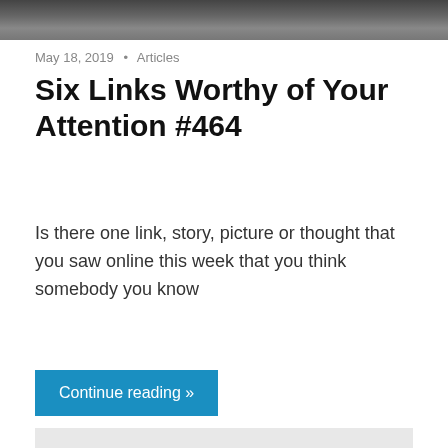[Figure (photo): Top portion of a photograph, dark/indoor scene]
May 18, 2019 • Articles
Six Links Worthy of Your Attention #464
Is there one link, story, picture or thought that you saw online this week that you think somebody you know
Continue reading »
[Figure (photo): Photo showing Lyft and Uber logos on cars]